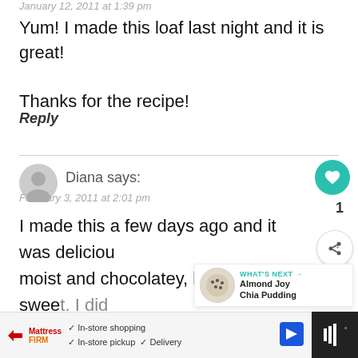January 12, 2011 at 1:39 pm
Yum! I made this loaf last night and it is great!

Thanks for the recipe!
Reply
Diana says:
February 3, 2011 at 2:01 pm
I made this a few days ago and it was delicious, moist and chocolatey, but not too sweet. I did have to cook it 15 minutes longer to get the inside cooked. Thanks for the recipe!
[Figure (infographic): Advertisement bar at bottom with Mattress Firm logo, in-store shopping, in-store pickup, and delivery checkmarks, navigation arrow icon, and dark right panel with audio/media icon]